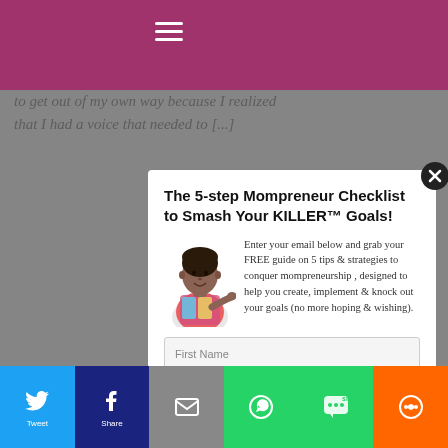to get out of my own way because I realized that I had a voice that needed to [...]
The 5-step Mompreneur Checklist to Smash Your KILLER™ Goals!
Enter your email below and grab your FREE guide on 5 tips & strategies to conquer mompreneurship , designed to help you create, implement & knock out your goals (no more hoping & wishing).
First Name
E-mail Address
YES! I'M READY TO CONQUER